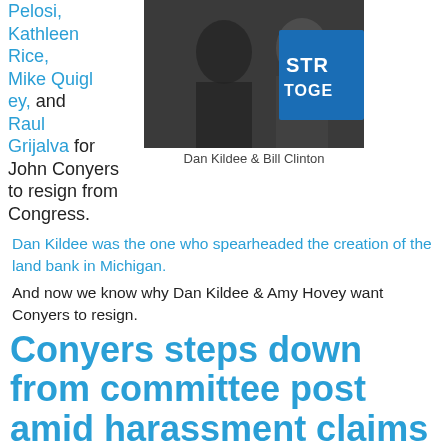Pelosi, Kathleen Rice, Mike Quigley, and Raul Grijalva for John Conyers to resign from Congress.
[Figure (photo): Photo of Dan Kildee and Bill Clinton together, with a blue 'Stronger Together' banner visible in the background]
Dan Kildee & Bill Clinton
Dan Kildee was the one who spearheaded the creation of the land bank in Michigan.
And now we know why Dan Kildee & Amy Hovey want Conyers to resign.
Conyers steps down from committee post amid harassment claims
Congressman John Conyers has stepped down from his powerful perch as Ranking Member of the House Judiciary Committee. His colleague in the House, Representative Dan